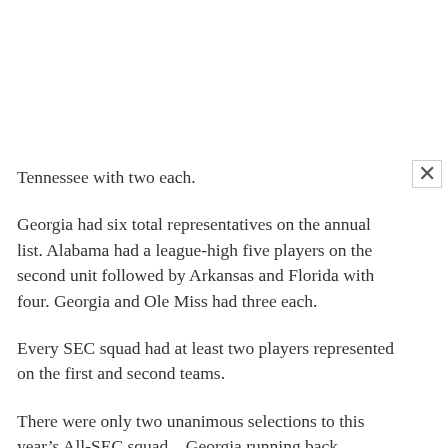Tennessee with two each.
Georgia had six total representatives on the annual list. Alabama had a league-high five players on the second unit followed by Arkansas and Florida with four. Georgia and Ole Miss had three each.
Every SEC squad had at least two players represented on the first and second teams.
There were only two unanimous selections to this year’s All-SEC squad – Georgia running back Knowshon Moreno and Tennessee defensive back Eric Berry. Coaches were not permitted to vote for their own players, thus a unanimous selection earns 11 of 12 first-